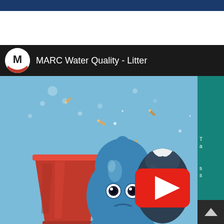[Figure (screenshot): YouTube video player screenshot showing a MARC Water Quality - Litter video. The video header has a black background with the MARC logo (white M on circular background with red bottom) and the title 'MARC Water Quality - Litter' in white text. The video thumbnail shows a blue animated water droplet character with sad eyes surrounded by litter including cigarette butts, a red plastic cup, and a dark trash bag, on a light blue background. A YouTube play button (red rectangle with white triangle) is overlaid in the center-right area. On the right side is a teal sidebar with partial text visible. A dark blue banner is at the top of the page.]